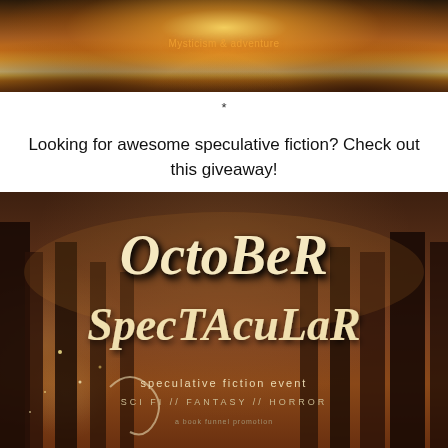[Figure (photo): Mystical forest path with glowing light at the end of a tunnel of trees with autumn leaves, overlaid text 'Mysticism & adventure']
*
Looking for awesome speculative fiction? Check out this giveaway!
[Figure (photo): October Spectacular speculative fiction event promotional image set in a misty forest with sparkles. Text reads: October Spectacular / speculative fiction event / SCI FI // FANTASY // HORROR / a book funnel promotion]